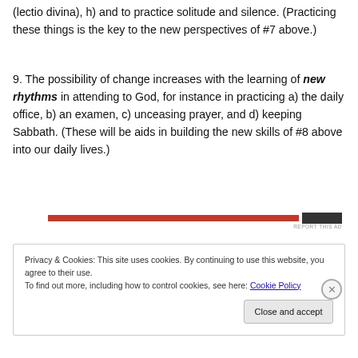(lectio divina), h) and to practice solitude and silence. (Practicing these things is the key to the new perspectives of #7 above.)
9. The possibility of change increases with the learning of new rhythms in attending to God, for instance in practicing a) the daily office, b) an examen, c) unceasing prayer, and d) keeping Sabbath. (These will be aids in building the new skills of #8 above into our daily lives.)
[Figure (other): Red advertisement banner strip with dark image thumbnail]
REPORT THIS AD
Privacy & Cookies: This site uses cookies. By continuing to use this website, you agree to their use.
To find out more, including how to control cookies, see here: Cookie Policy
Close and accept